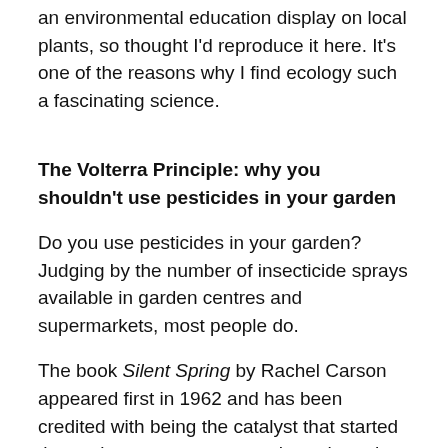an environmental education display on local plants, so thought I'd reproduce it here. It's one of the reasons why I find ecology such a fascinating science.
The Volterra Principle: why you shouldn't use pesticides in your garden
Do you use pesticides in your garden? Judging by the number of insecticide sprays available in garden centres and supermarkets, most people do.
The book Silent Spring by Rachel Carson appeared first in 1962 and has been credited with being the catalyst that started the environment movement throughout the world. It documents the wholesale use of insecticides and pesticides which was common at that time, and points out